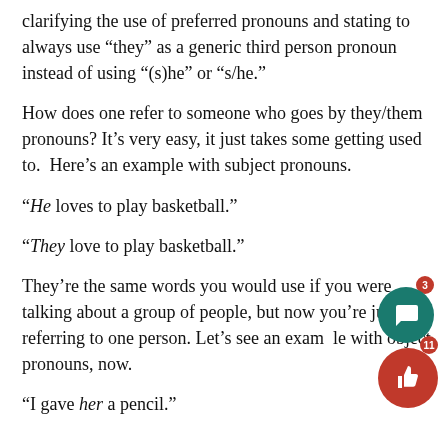clarifying the use of preferred pronouns and stating to always use “they” as a generic third person pronoun instead of using “(s)he” or “s/he.”
How does one refer to someone who goes by they/them pronouns? It’s very easy, it just takes some getting used to.  Here’s an example with subject pronouns.
“He loves to play basketball.”
“They love to play basketball.”
They’re the same words you would use if you were talking about a group of people, but now you’re just referring to one person. Let’s see an example with object pronouns, now.
“I gave her a pencil.”